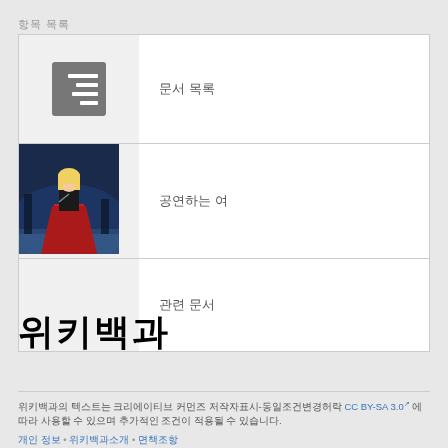항목 목록
| (아이콘) | 문서 목록 |
| (사진) | 공연하는 여 |
|  | 관련 문서 |
위키백과
위키백과의 텍스트는 크리에이티브 커먼즈 저작자표시-동일조건변경허락 CC BY-SA 3.0 에 따라 사용할 수 있으며 추가적인 조건이 적용될 수 있습니다.
개인정보처리방침 • 위키백과소개 • 면책조항 • 찾아보기